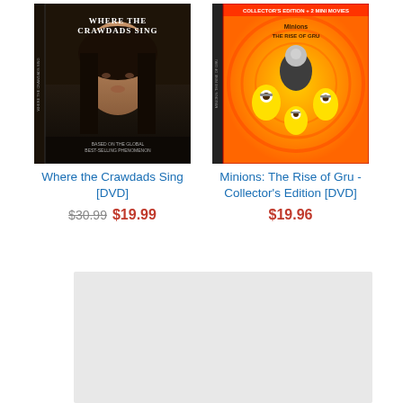[Figure (photo): DVD cover for 'Where the Crawdads Sing' - dark cinematic cover showing a young woman's face with long dark hair, text 'WHERE THE CRAWDADS SING' at top, 'BASED ON THE GLOBAL BEST-SELLING PHENOMENON' at bottom]
Where the Crawdads Sing [DVD]
$30.99 $19.99
[Figure (photo): DVD cover for 'Minions: The Rise of Gru - Collector's Edition' - colorful animated cover showing Minions characters with Gru, orange/yellow swirling background, 'COLLECTOR'S EDITION + 2 MINI MOVIES' banner at top]
Minions: The Rise of Gru - Collector's Edition [DVD]
$19.96
[Figure (other): Gray placeholder rectangle in lower portion of page]